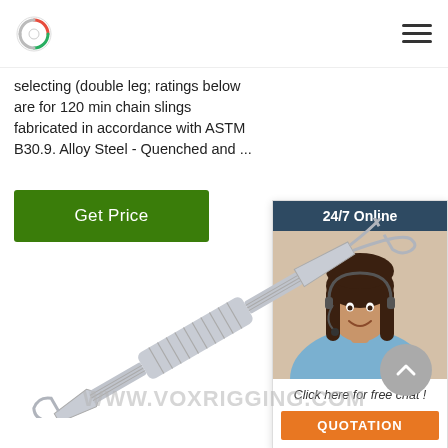VOX Rigging - logo and navigation
selecting (double leg; ratings below are for 120 min chain slings fabricated in accordance with ASTM B30.9. Alloy Steel - Quenched and ...
Get Price
[Figure (photo): Customer service representative woman wearing headset with 24/7 Online chat widget panel, orange QUOTATION button]
[Figure (photo): Stainless steel turnbuckle hardware product image on white background]
WWW.VOXRIGGING.COM